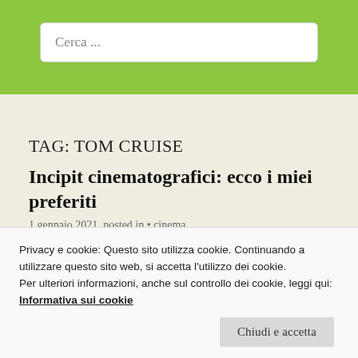Cerca ...
TAG: TOM CRUISE
Incipit cinematografici: ecco i miei preferiti
1 gennaio 2021, posted in • cinema
Privacy e cookie: Questo sito utilizza cookie. Continuando a utilizzare questo sito web, si accetta l'utilizzo dei cookie. Per ulteriori informazioni, anche sul controllo dei cookie, leggi qui: Informativa sui cookie
Chiudi e accetta